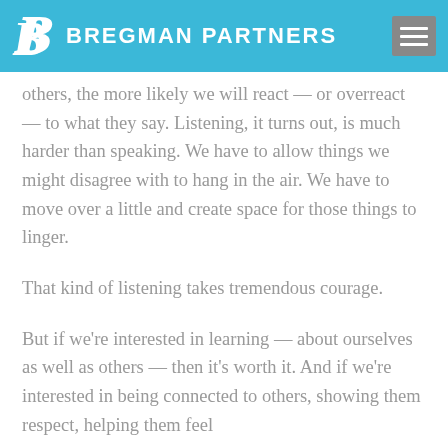BREGMAN PARTNERS
others, the more likely we will react — or overreact — to what they say. Listening, it turns out, is much harder than speaking. We have to allow things we might disagree with to hang in the air. We have to move over a little and create space for those things to linger.
That kind of listening takes tremendous courage.
But if we're interested in learning — about ourselves as well as others — then it's worth it. And if we're interested in being connected to others, showing them respect, helping them feel